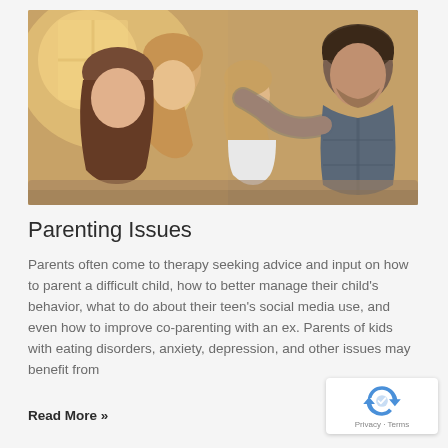[Figure (photo): A family scene showing two children and an adult man, likely a father, in a warm indoor setting with golden light. The adults appear to be having a serious or comforting conversation with the children.]
Parenting Issues
Parents often come to therapy seeking advice and input on how to parent a difficult child, how to better manage their child's behavior, what to do about their teen's social media use, and even how to improve co-parenting with an ex. Parents of kids with eating disorders, anxiety, depression, and other issues may benefit from
Read More »